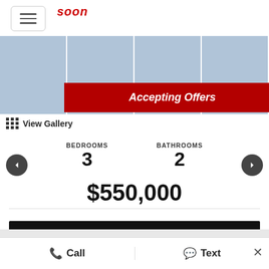soon
[Figure (photo): Gallery strip showing four house exterior photos in winter. Red banner overlay reading 'Accepting Offers'.]
View Gallery
BEDROOMS 3   BATHROOMS 2
$550,000
SEE IT NOW
Call   Text